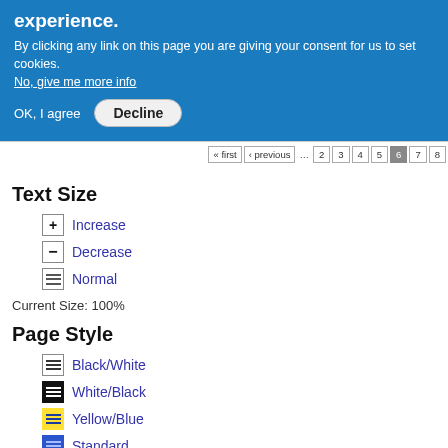experience.
By clicking any link on this page you are giving your consent for us to set cookies. No, give me more info
OK, I agree   Decline
[Figure (screenshot): Pagination bar with buttons: first, previous, ..., 2, 3, 4, 5, 6 (active), 7, 8]
Text Size
+ Increase
- Decrease
= Normal
Current Size: 100%
Page Style
Black/White
White/Black
Yellow/Blue
Standard
Current Style: Standard